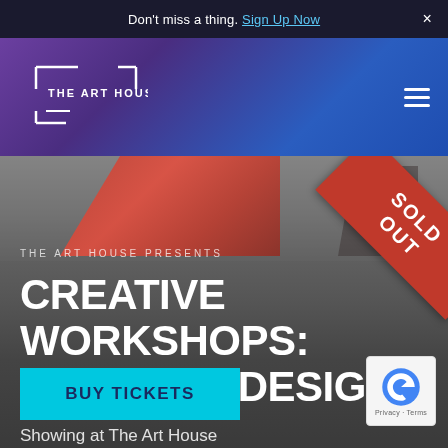Don't miss a thing. Sign Up Now ×
[Figure (logo): The Art House logo with white bracket/frame design and hamburger menu icon on purple-to-blue gradient header]
[Figure (photo): Costume design workshop hero image showing red costume pieces on grey background with SOLD OUT red diagonal ribbon banner]
THE ART HOUSE PRESENTS
CREATIVE WORKSHOPS: COSTUME DESIGN
16 MAY 2021
Showing at The Art House
BUY TICKETS
[Figure (logo): Google reCAPTCHA badge with Privacy · Terms text]